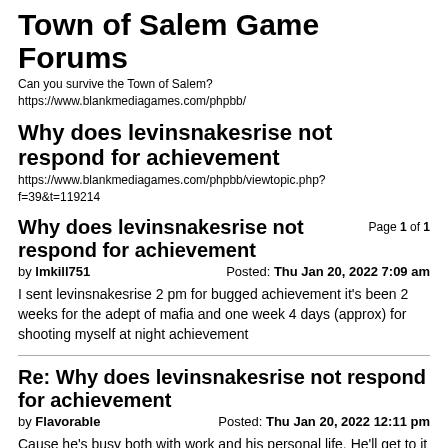Town of Salem Game Forums
Can you survive the Town of Salem?
https://www.blankmediagames.com/phpbb/
Why does levinsnakesrise not respond for achievement
https://www.blankmediagames.com/phpbb/viewtopic.php?f=39&t=119214
Why does levinsnakesrise not respond for achievement
Page 1 of 1
by lmkill751    Posted: Thu Jan 20, 2022 7:09 am
I sent levinsnakesrise 2 pm for bugged achievement it's been 2 weeks for the adept of mafia and one week 4 days (approx) for shooting myself at night achievement
Re: Why does levinsnakesrise not respond for achievement
by Flavorable    Posted: Thu Jan 20, 2022 12:11 pm
Cause he's busy both with work and his personal life. He'll get to it when he gets to it. Achievements are not a pressing issue.